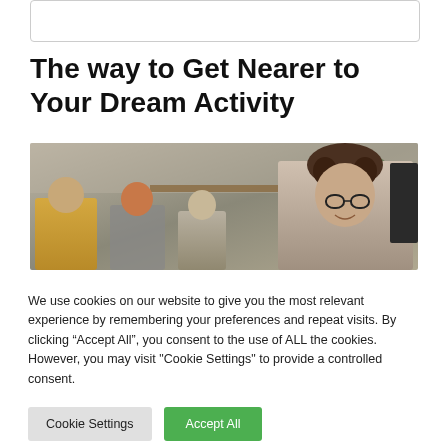[Figure (other): Empty white input box or form field at top of page]
The way to Get Nearer to Your Dream Activity
[Figure (photo): Office/workplace photo showing a woman with curly hair and glasses smiling in the foreground, with colleagues in the background including a man in yellow jacket and a woman with red hair]
We use cookies on our website to give you the most relevant experience by remembering your preferences and repeat visits. By clicking “Accept All”, you consent to the use of ALL the cookies. However, you may visit "Cookie Settings" to provide a controlled consent.
Cookie Settings   Accept All